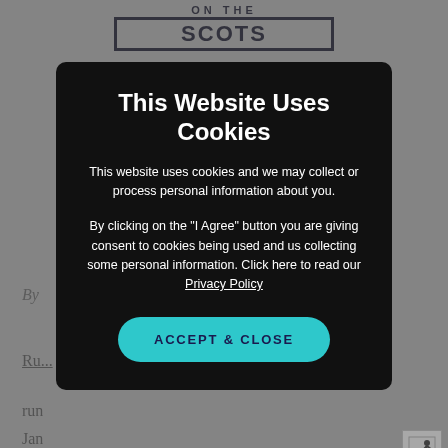[Figure (screenshot): Website screenshot showing a cookie consent modal overlay on a running/sports blog page. The modal has a black background with white text reading 'This Website Uses Cookies', explanatory text, a Privacy Policy link, and a teal 'ACCEPT & CLOSE' button. The background shows a partially visible blog page with logo, byline, and article text.]